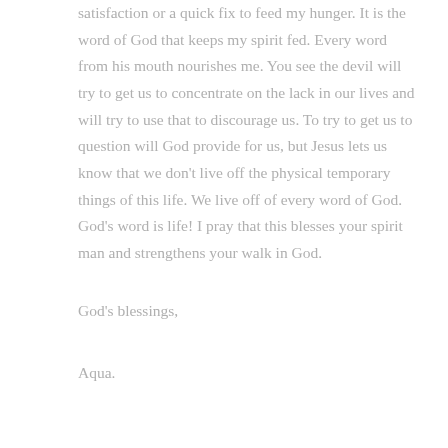satisfaction or a quick fix to feed my hunger. It is the word of God that keeps my spirit fed. Every word from his mouth nourishes me. You see the devil will try to get us to concentrate on the lack in our lives and will try to use that to discourage us. To try to get us to question will God provide for us, but Jesus lets us know that we don't live off the physical temporary things of this life. We live off of every word of God. God's word is life! I pray that this blesses your spirit man and strengthens your walk in God.
God's blessings,
Aqua.